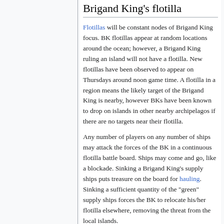Brigand King's flotilla
Flotillas will be constant nodes of Brigand King focus. BK flotillas appear at random locations around the ocean; however, a Brigand King ruling an island will not have a flotilla. New flotillas have been observed to appear on Thursdays around noon game time. A flotilla in a region means the likely target of the Brigand King is nearby, however BKs have been known to drop on islands in other nearby archipelagos if there are no targets near their flotilla.
Any number of players on any number of ships may attack the forces of the BK in a continuous flotilla battle board. Ships may come and go, like a blockade. Sinking a Brigand King's supply ships puts treasure on the board for hauling. Sinking a sufficient quantity of the "green" supply ships forces the BK to relocate his/her flotilla elsewhere, removing the threat from the local islands.
Brigand King blockades